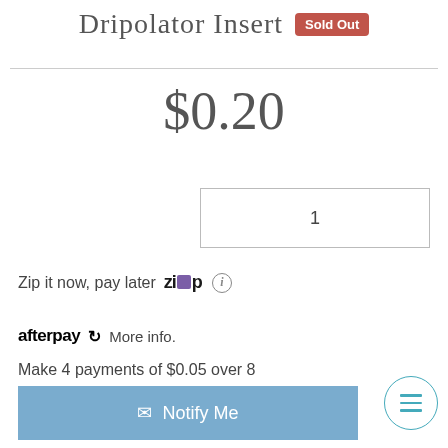Dripolator Insert Sold Out
$0.20
1
Zip it now, pay later
afterpay More info.
Make 4 payments of $0.05 over 8 weeks and get it now!
Notify Me